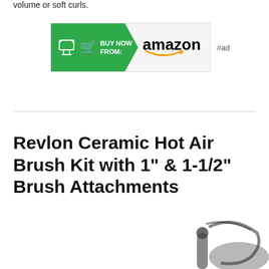volume or soft curls.
[Figure (other): Amazon 'Buy Now From' advertisement button with green arrow shape containing cart icon and 'BUY NOW FROM:' text, followed by Amazon logo with smile, and #ad label]
Revlon Ceramic Hot Air Brush Kit with 1" & 1-1/2" Brush Attachments
[Figure (photo): Partial photo of a Revlon Ceramic Hot Air Brush Kit product, showing the brush attachment at the bottom right corner]